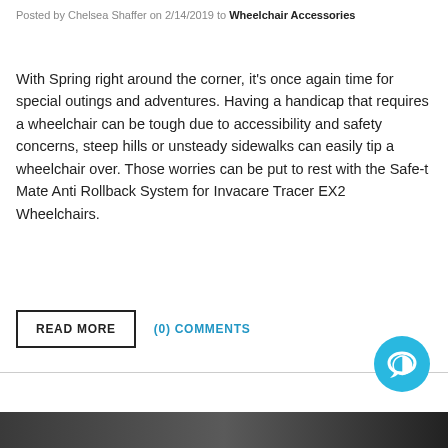Posted by Chelsea Shaffer on 2/14/2019 to Wheelchair Accessories
With Spring right around the corner, it's once again time for special outings and adventures. Having a handicap that requires a wheelchair can be tough due to accessibility and safety concerns, steep hills or unsteady sidewalks can easily tip a wheelchair over. Those worries can be put to rest with the Safe-t Mate Anti Rollback System for Invacare Tracer EX2 Wheelchairs.
READ MORE
(0) COMMENTS
[Figure (other): Chat bubble icon - circular blue button with a speech/message icon]